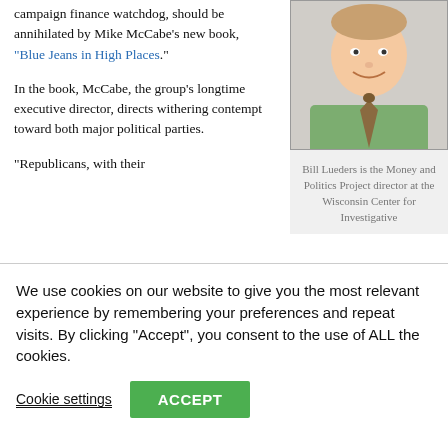campaign finance watchdog, should be annihilated by Mike McCabe's new book, “Blue Jeans in High Places.”
In the book, McCabe, the group’s longtime executive director, directs withering contempt toward both major political parties.
[Figure (photo): Headshot of a man in a green dress shirt and patterned tie, smiling]
Bill Lueders is the Money and Politics Project director at the Wisconsin Center for Investigative
“Republicans, with their
[Figure (other): Accessibility icon - blue circle with white person figure]
according to the book. “Democrats, having gone
[Figure (other): Wayfair advertisement banner: Top Appliances Low Prices, Save on best selling brands that live up to the hype, Shop now button]
We use cookies on our website to give you the most relevant experience by remembering your preferences and repeat visits. By clicking “Accept”, you consent to the use of ALL the cookies.
Cookie settings
ACCEPT